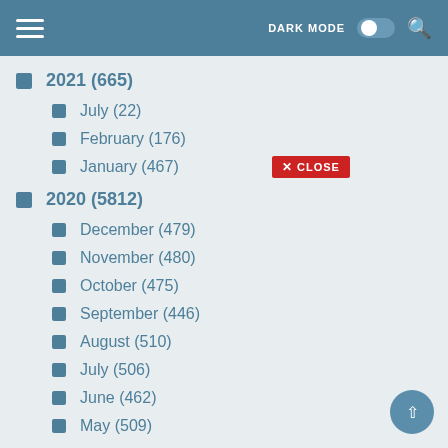DARK MODE [toggle] [search]
2021 (665)
July (22)
February (176)
January (467)
2020 (5812)
December (479)
November (480)
October (475)
September (446)
August (510)
July (506)
June (462)
May (509)